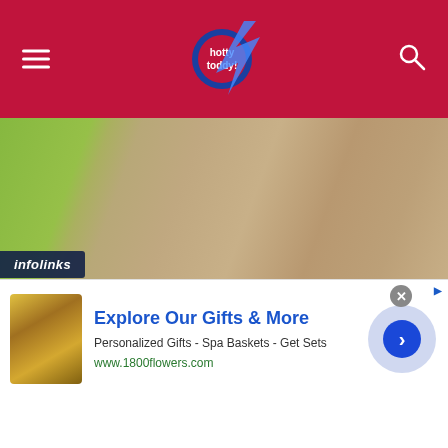hotty toddy (logo)
[Figure (photo): Close-up photo of fabric textures — lime green fabric on left, tan/brown leather-like fabric on right, showing texture detail of a jeweled necklace]
Jeweled necklace by Laura Husni Jewelry
[Figure (photo): A dark wooden jewelry display rack with colorful decorative knobs on top from which various necklaces are hanging — gold chains, crystal/glass bead necklaces, pearl strands, and other jewelry pieces]
infolinks
[Figure (other): Advertisement banner: Explore Our Gifts & More — Personalized Gifts - Spa Baskets - Get Sets — www.1800flowers.com — with product image of spa/gift set items and a blue arrow button]